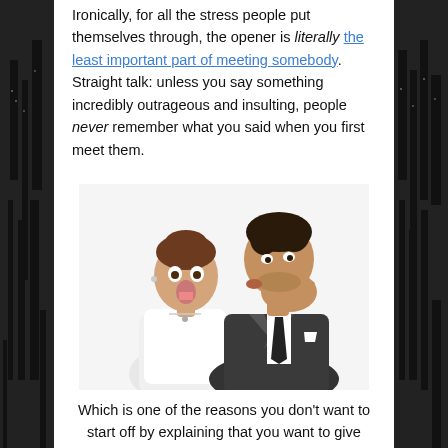Ironically, for all the stress people put themselves through, the opener is literally the least important part of meeting somebody. Straight talk: unless you say something incredibly outrageous and insulting, people never remember what you said when you first meet them.
[Figure (photo): A man in a dark suit whispering into the ear of a shocked woman in a white top, both on white background.]
Which is one of the reasons you don't want to start off by explaining that you want to give them a Rusty Venture...